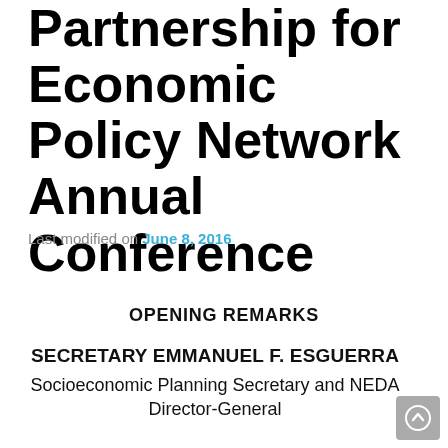Partnership for Economic Policy Network Annual Conference
Last modified on June 8, 2016
OPENING REMARKS
SECRETARY EMMANUEL F. ESGUERRA
Socioeconomic Planning Secretary and NEDA Director-General